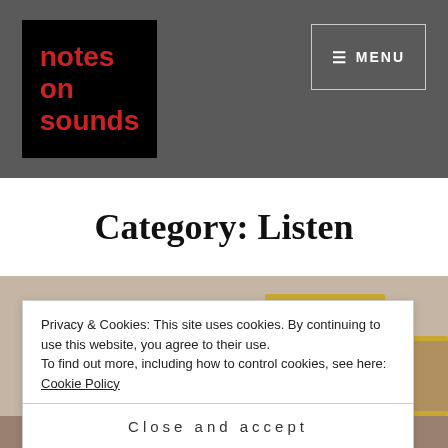notes on sounds | MENU
Category: Listen
[Figure (photo): A room with framed artwork hanging on a wall, warm and neutral tones]
Privacy & Cookies: This site uses cookies. By continuing to use this website, you agree to their use.
To find out more, including how to control cookies, see here: Cookie Policy
Close and accept